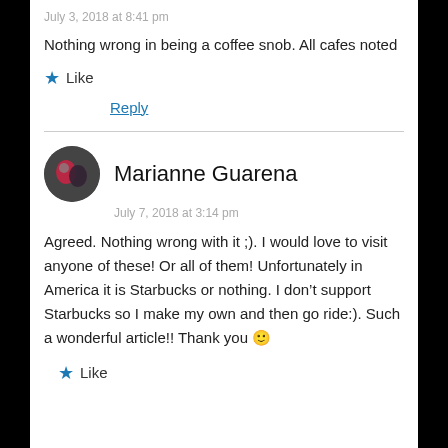July 3, 2018 at 8:41 pm
Nothing wrong in being a coffee snob. All cafes noted
★ Like
Reply
Marianne Guarena
July 7, 2018 at 3:14 pm
Agreed. Nothing wrong with it ;). I would love to visit anyone of these! Or all of them! Unfortunately in America it is Starbucks or nothing. I don't support Starbucks so I make my own and then go ride:). Such a wonderful article!! Thank you 🙂
★ Like